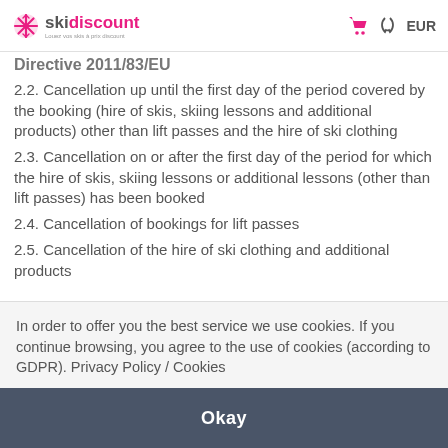skidiscount | EUR
Directive 2011/83/EU
2.2. Cancellation up until the first day of the period covered by the booking (hire of skis, skiing lessons and additional products) other than lift passes and the hire of ski clothing
2.3. Cancellation on or after the first day of the period for which the hire of skis, skiing lessons or additional lessons (other than lift passes) has been booked
2.4. Cancellation of bookings for lift passes
2.5. Cancellation of the hire of ski clothing and additional products
In order to offer you the best service we use cookies. If you continue browsing, you agree to the use of cookies (according to GDPR). Privacy Policy / Cookies
Okay